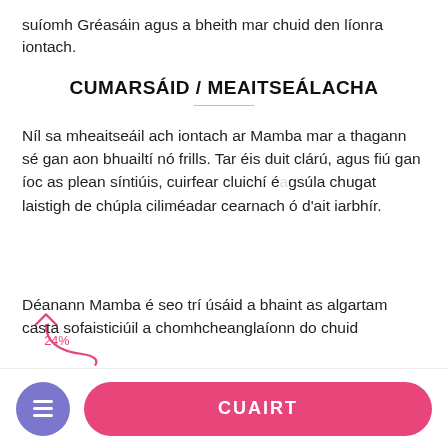suíomh Gréasáin agus a bheith mar chuid den líonra iontach.
CUMARSÁID / MEAITSEÁLACHA
Níl sa mheaitseáil ach iontach ar Mamba mar a thagann sé gan aon bhuailtí nó frills. Tar éis duit clárú, agus fiú gan íoc as plean síntiúis, cuirfear cluichí éagsúla chugat laistigh de chúpla ciliméadar cearnach ó d'ait iarbhír.
Déanann Mamba é seo trí úsáid a bhaint as algartam casta sofaisticiúil a chomhcheanglaíonn do chuid